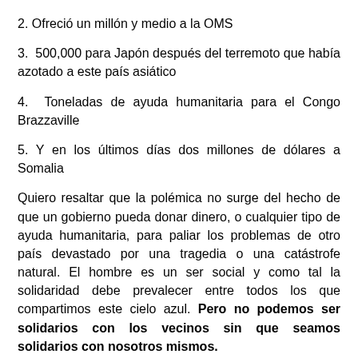2. Ofreció un millón y medio a la OMS
3. 500,000 para Japón después del terremoto que había azotado a este país asiático
4. Toneladas de ayuda humanitaria para el Congo Brazzaville
5. Y en los últimos días dos millones de dólares a Somalia
Quiero resaltar que la polémica no surge del hecho de que un gobierno pueda donar dinero, o cualquier tipo de ayuda humanitaria, para paliar los problemas de otro país devastado por una tragedia o una catástrofe natural. El hombre es un ser social y como tal la solidaridad debe prevalecer entre todos los que compartimos este cielo azul. Pero no podemos ser solidarios con los vecinos sin que seamos solidarios con nosotros mismos.
El gobierno de Guinea Ecuatorial y su presidente Obiang Nguema Mbasogo, en su afán de desempolvar la imagen exterior deciden donar 3 millones de euros a la UNESCO...